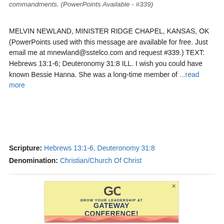commandments. (PowerPoints Available - #339)
MELVIN NEWLAND, MINISTER RIDGE CHAPEL, KANSAS, OK (PowerPoints used with this message are available for free. Just email me at mnewland@sstelco.com and request #339.) TEXT: Hebrews 13:1-6; Deuteronomy 31:8 ILL. I wish you could have known Bessie Hanna. She was a long-time member of ...read more
Scripture: Hebrews 13:1-6, Deuteronomy 31:8
Denomination: Christian/Church Of Christ
[Figure (infographic): Gateway Conference advertisement with yellow background. Shows GC logo, text: GROW YOUR LEADERSHIP AT GATEWAY CONFERENCE! SEP 26-27, 2022 with mountain scenery at bottom.]